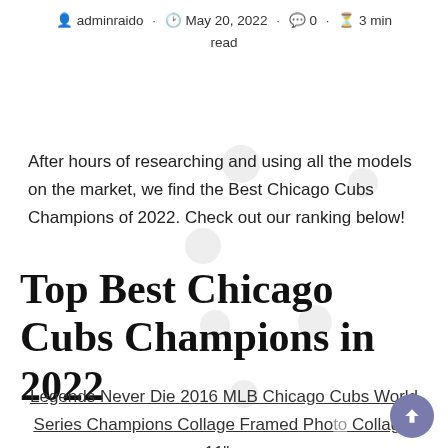adminraido · May 20, 2022 · 0 · 3 min read
After hours of researching and using all the models on the market, we find the Best Chicago Cubs Champions of 2022. Check out our ranking below!
Top Best Chicago Cubs Champions in 2022
Legends Never Die 2016 MLB Chicago Cubs World Series Champions Collage Framed Photo Collage, 11"...